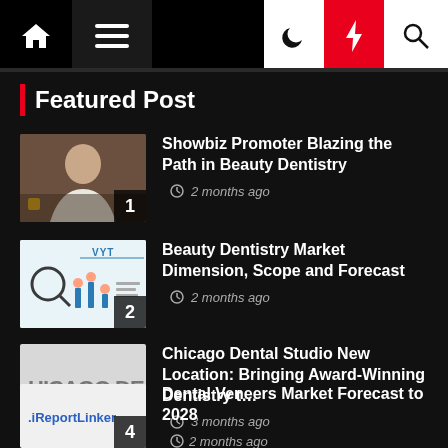Navigation bar with home, menu, dark mode, bolt/featured, and search icons
Featured Post
Showbiz Promoter Blazing the Path in Beauty Dentistry — 2 months ago
Beauty Dentistry Market Dimension, Scope and Forecast — 2 months ago
Chicago Dental Studio New Location: Bringing Award-Winning Dentistry t… — 3 months ago
Dental Veneers Market Forecast to 2028 — 2 months ago